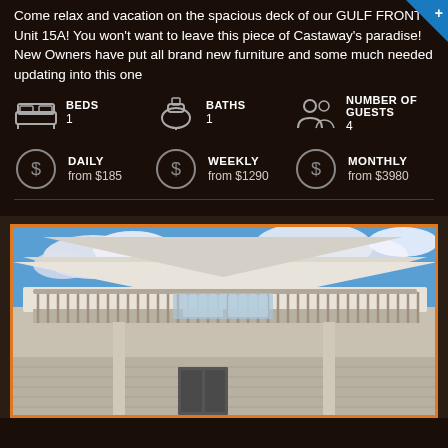Come relax and vacation on the spacious deck of our GULF FRONT Unit 15A! You won't want to leave this piece of Castaway's paradise! New Owners have put all brand new furniture and some much needed updating into this one
BEDS 1
BATHS 1
NUMBER OF GUESTS 4
DAILY from $185
WEEKLY from $1290
MONTHLY from $3980
[Figure (photo): Exterior photo of a vacation rental building with a large wooden deck/balcony with railing, white siding, and a blue sky with clouds in the background.]